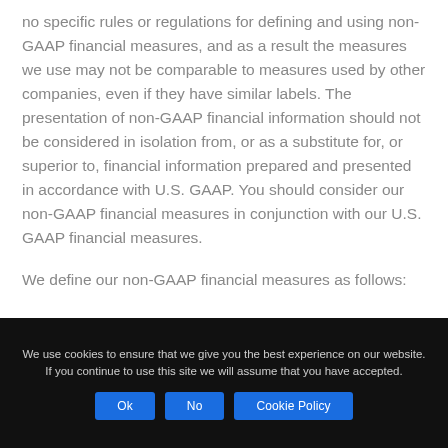no specific rules or regulations for defining and using non-GAAP financial measures, and as a result the measures we use may not be comparable to measures used by other companies, even if they have similar labels. The presentation of non-GAAP financial information should not be considered in isolation from, or as a substitute for, or superior to, financial information prepared and presented in accordance with U.S. GAAP. You should consider our non-GAAP financial measures in conjunction with our U.S. GAAP financial measures.
We define our non-GAAP financial measures as follows:
We use cookies to ensure that we give you the best experience on our website. If you continue to use this site we will assume that you have accepted.